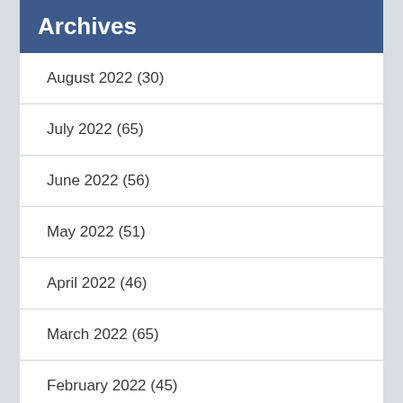Archives
August 2022 (30)
July 2022 (65)
June 2022 (56)
May 2022 (51)
April 2022 (46)
March 2022 (65)
February 2022 (45)
January 2022 (51)